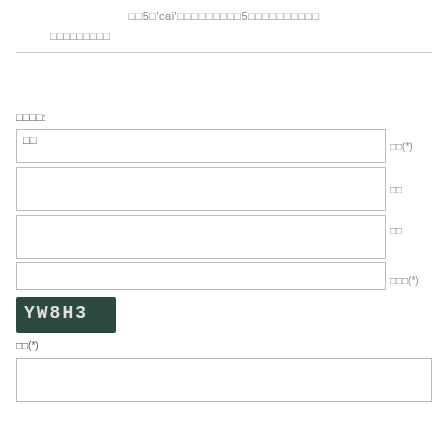□□5□'cai'□□□□□□□□□5□□□□□□□□□□
□□□□□□□□□
□□□□:
| □□ | □□(*) |
| --- | --- |
| □□ | □□(*) |
|  | □□ |
|  | □□ |
|  | □□□(*) |
[Figure (other): CAPTCHA image with text 'YW8H3' on dark green background]
□□(*)